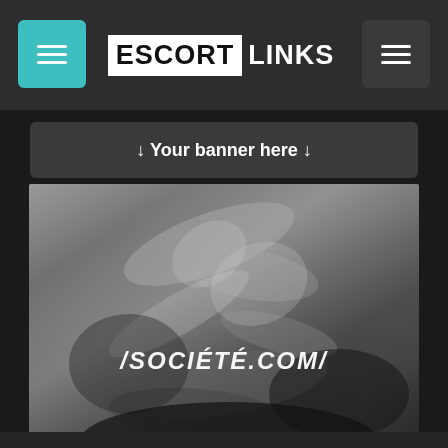ESCORTLINKS
↓ Your banner here ↓
[Figure (photo): Black and white photograph of a person, partially cropped, with overlay text reading /SOCIÉTÉ.COM/]